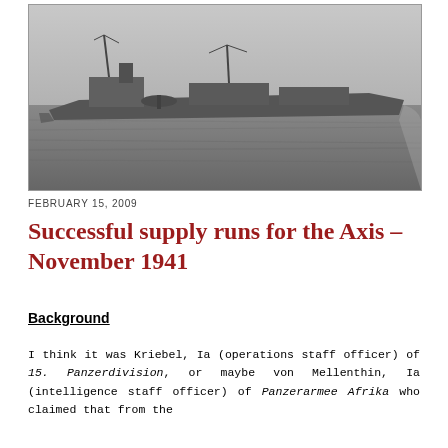[Figure (photo): Black and white photograph of a naval warship sailing on open sea, viewed from the side.]
FEBRUARY 15, 2009
Successful supply runs for the Axis – November 1941
Background
I think it was Kriebel, Ia (operations staff officer) of 15. Panzerdivision, or maybe von Mellenthin, Ia (intelligence staff officer) of Panzerarmee Afrika who claimed that from the